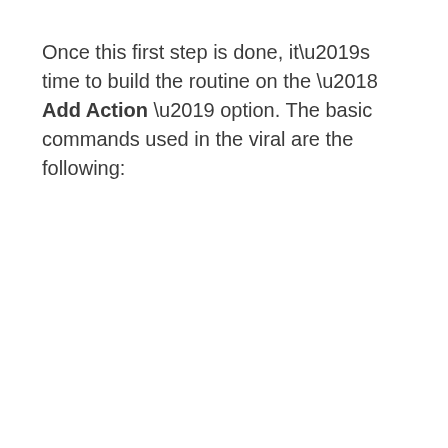Once this first step is done, it’s time to build the routine on the ‘ Add Action ’ option. The basic commands used in the viral are the following: